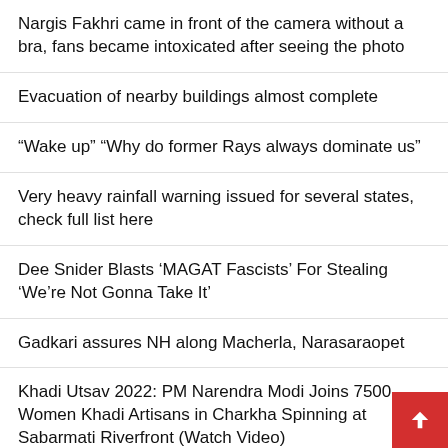Nargis Fakhri came in front of the camera without a bra, fans became intoxicated after seeing the photo
Evacuation of nearby buildings almost complete
“Wake up” “Why do former Rays always dominate us”
Very heavy rainfall warning issued for several states, check full list here
Dee Snider Blasts ‘MAGAT Fascists’ For Stealing ‘We’re Not Gonna Take It’
Gadkari assures NH along Macherla, Narasaraopet
Khadi Utsav 2022: PM Narendra Modi Joins 7500 Women Khadi Artisans in Charkha Spinning at Sabarmati Riverfront (Watch Video)
How Ottawa plans to launch a climate-friendly construction b